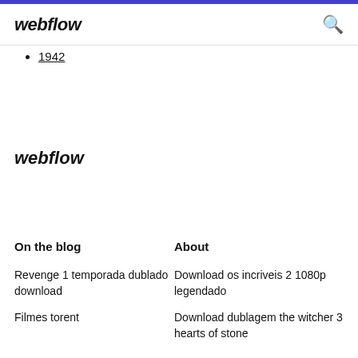webflow
1942
webflow
On the blog
About
Revenge 1 temporada dublado download
Download os incriveis 2 1080p legendado
Filmes torent
Download dublagem the witcher 3 hearts of stone